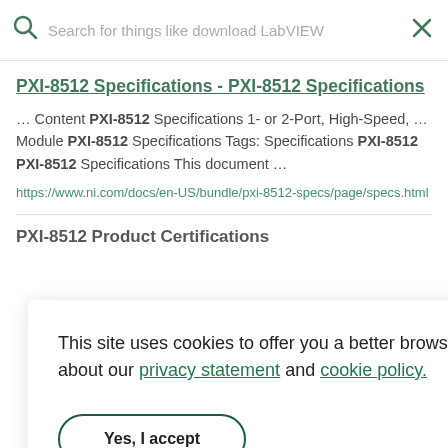Search for things like download LabVIEW
PXI-8512 Specifications - PXI-8512 Specifications
… Content PXI-8512 Specifications 1- or 2-Port, High-Speed, … Module PXI-8512 Specifications Tags: Specifications PXI-8512 PXI-8512 Specifications This document …
https://www.ni.com/docs/en-US/bundle/pxi-8512-specs/page/specs.html
PXI-8512 Product Certifications
This site uses cookies to offer you a better browsing experience. Learn more about our privacy statement and cookie policy.
Yes, I accept